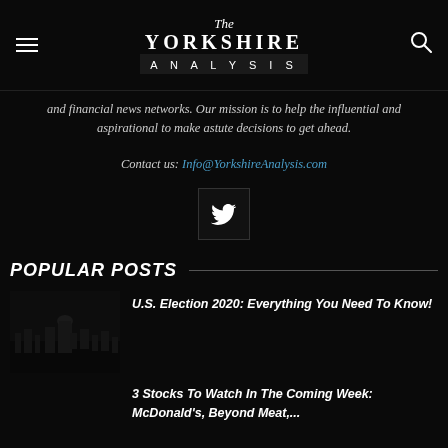The Yorkshire Analysis
and financial news networks. Our mission is to help the influential and aspirational to make astute decisions to get ahead.
Contact us: Info@YorkshireAnalysis.com
[Figure (illustration): Twitter bird icon in a dark square button]
POPULAR POSTS
[Figure (photo): Dark nighttime photo of a city skyline, possibly Washington DC Capitol building]
U.S. Election 2020: Everything You Need To Know!
3 Stocks To Watch In The Coming Week: McDonald's, Beyond Meat,...